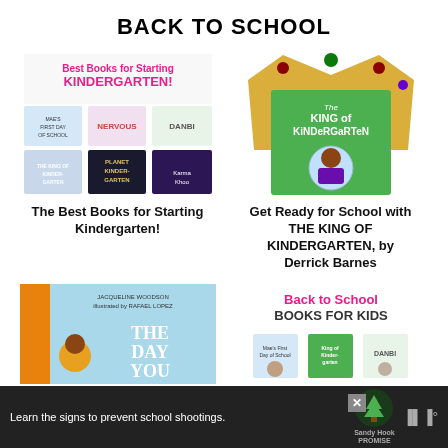BACK TO SCHOOL
[Figure (illustration): Collage of book covers for Best Books for Starting Kindergarten including Mae's First Day of School, Nervous, Danbi, The King of Kindergarten, Planet Kindergarten, Karma Khoo]
The Best Books for Starting Kindergarten!
[Figure (illustration): The King of Kindergarten book cover with golden crown behind it]
Get Ready for School with THE KING OF KINDERGARTEN, by Derrick Barnes
[Figure (illustration): The Day You Begin book cover partial view]
[Figure (illustration): Back to School Books for Kids collage with multiple book covers]
Learn the signs to prevent school shootings. Sandy Hook Promise